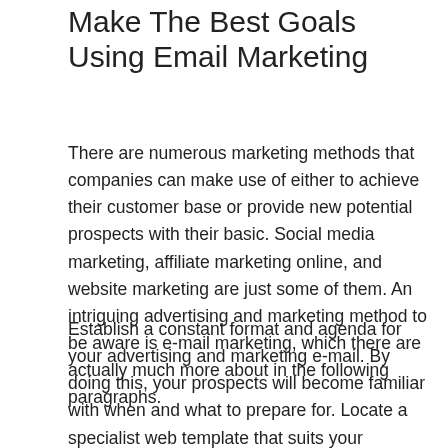Make The Best Goals Using Email Marketing
There are numerous marketing methods that companies can make use of either to achieve their customer base or provide new potential prospects with their basic. Social media marketing, affiliate marketing online, and website marketing are just some of them. An intriguing advertising and marketing method to be aware is e-mail marketing, which there are actually much more about in the following paragraphs.
Establish a constant format and agenda for your advertising and marketing e-mail. By doing this, your prospects will become familiar with when and what to prepare for. Locate a specialist web template that suits your company and used it every time. Alert your potential customers for the most relevant information at the outset of the email.